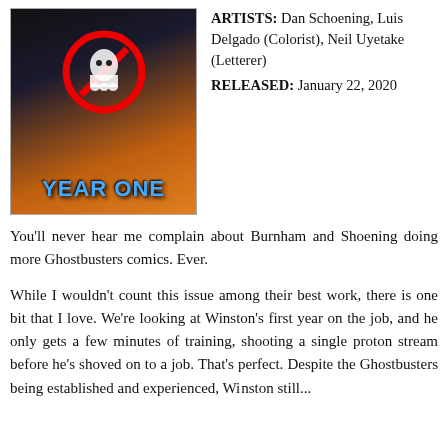[Figure (illustration): Comic book cover for Ghostbusters Year One, featuring the Ghostbusters characters, the Ghostbusters no-ghost logo, and orange flame background with the text YEAR ONE at the bottom.]
ARTISTS: Dan Schoening, Luis Delgado (Colorist), Neil Uyetake (Letterer)
RELEASED: January 22, 2020
You'll never hear me complain about Burnham and Shoening doing more Ghostbusters comics. Ever.
While I wouldn't count this issue among their best work, there is one bit that I love. We're looking at Winston's first year on the job, and he only gets a few minutes of training, shooting a single proton stream before he's shoved on to a job. That's perfect. Despite the Ghostbusters being established and experienced, Winston still...